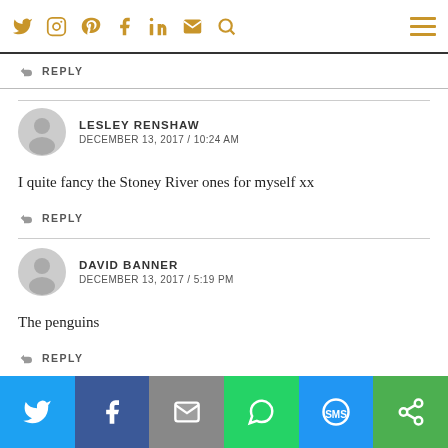Social media icons and navigation
REPLY
LESLEY RENSHAW
DECEMBER 13, 2017 / 10:24 AM
I quite fancy the Stoney River ones for myself xx
REPLY
DAVID BANNER
DECEMBER 13, 2017 / 5:19 PM
The penguins
REPLY
Share buttons: Twitter, Facebook, Email, WhatsApp, SMS, Share